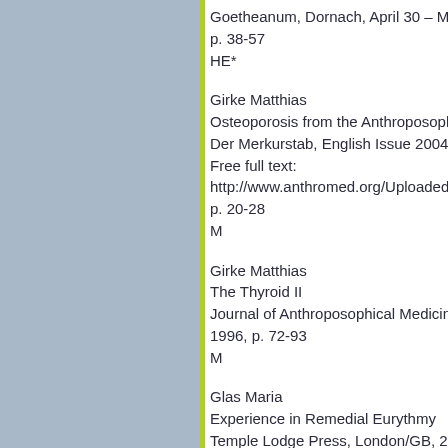Goetheanum, Dornach, April 30 – May 6,
p. 38-57
HE*
Girke Matthias
Osteoporosis from the Anthroposophical P
Der Merkurstab, English Issue 2004, p. 20
Free full text:
http://www.anthromed.org/UploadedDocu
p. 20-28
M
Girke Matthias
The Thyroid II
Journal of Anthroposophical Medicine, Vo
1996, p. 72-93
M
Glas Maria
Experience in Remedial Eurythmy
Temple Lodge Press, London/GB, 2. Editi
HE*